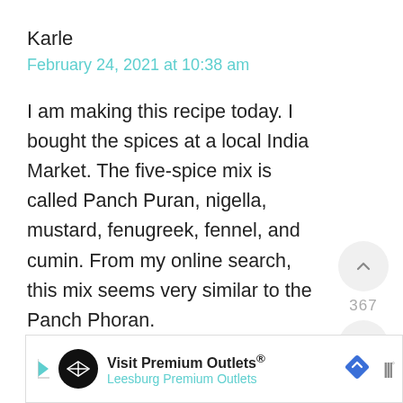Karle
February 24, 2021 at 10:38 am
I am making this recipe today. I bought the spices at a local India Market. The five-spice mix is called Panch Puran, nigella, mustard, fenugreek, fennel, and cumin. From my online search, this mix seems very similar to the Panch Phoran.
REPLY
[Figure (infographic): Up arrow button, heart/like button, and teal search button on the right side. Number 367 displayed between up and heart buttons.]
[Figure (infographic): Advertisement banner: Visit Premium Outlets® Leesburg Premium Outlets, with logo and navigation icon.]